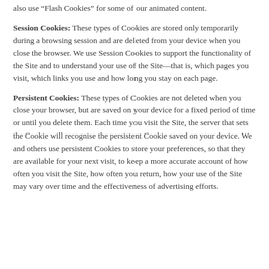also use “Flash Cookies” for some of our animated content.
Session Cookies: These types of Cookies are stored only temporarily during a browsing session and are deleted from your device when you close the browser. We use Session Cookies to support the functionality of the Site and to understand your use of the Site—that is, which pages you visit, which links you use and how long you stay on each page.
Persistent Cookies: These types of Cookies are not deleted when you close your browser, but are saved on your device for a fixed period of time or until you delete them. Each time you visit the Site, the server that sets the Cookie will recognise the persistent Cookie saved on your device. We and others use persistent Cookies to store your preferences, so that they are available for your next visit, to keep a more accurate account of how often you visit the Site, how often you return, how your use of the Site may vary over time and the effectiveness of advertising efforts.